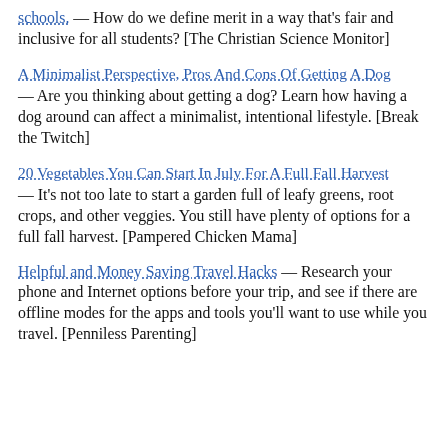schools. — How do we define merit in a way that's fair and inclusive for all students? [The Christian Science Monitor]
A Minimalist Perspective, Pros And Cons Of Getting A Dog — Are you thinking about getting a dog? Learn how having a dog around can affect a minimalist, intentional lifestyle. [Break the Twitch]
20 Vegetables You Can Start In July For A Full Fall Harvest — It's not too late to start a garden full of leafy greens, root crops, and other veggies. You still have plenty of options for a full fall harvest. [Pampered Chicken Mama]
Helpful and Money Saving Travel Hacks — Research your phone and Internet options before your trip, and see if there are offline modes for the apps and tools you'll want to use while you travel. [Penniless Parenting]